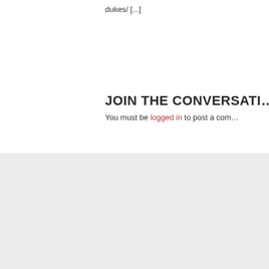dukes/ [...]
JOIN THE CONVERSATION
You must be logged in to post a comment.
© 2022 AAUW
1310 L St. NW, Suite 1000
Washington, DC 20005
202.785.7700
Contact Us
Site Map
Privacy Policy
Terms of Use
About AAUW
Corporate Partnerships
Jobs
Member Tools
Member Services Database
AAUW [truncated]
Donate [truncated]
Tax ID [truncated]
Read [truncated]
Donate [truncated]